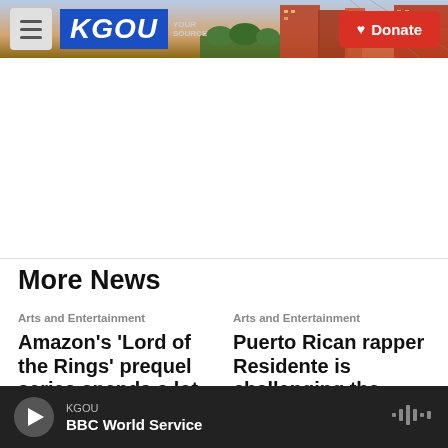[Figure (screenshot): KGOU radio website header with logo, menu button, city background image, and red Donate button]
[Figure (photo): City skyline background photo showing buildings at dusk/sunset with bridge]
More News
Arts and Entertainment
Amazon's 'Lord of the Rings' prequel series spends a lot
Arts and Entertainment
Puerto Rican rapper Residente is challenging the
KGOU BBC World Service